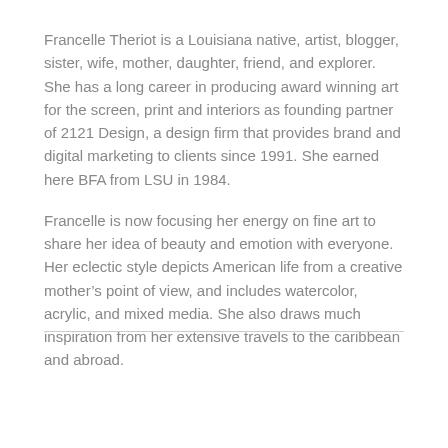Francelle Theriot is a Louisiana native, artist, blogger, sister, wife, mother, daughter, friend, and explorer. She has a long career in producing award winning art for the screen, print and interiors as founding partner of 2121 Design, a design firm that provides brand and digital marketing to clients since 1991. She earned here BFA from LSU in 1984.
Francelle is now focusing her energy on fine art to share her idea of beauty and emotion with everyone. Her eclectic style depicts American life from a creative mother’s point of view, and includes watercolor, acrylic, and mixed media. She also draws much inspiration from her extensive travels to the caribbean and abroad.